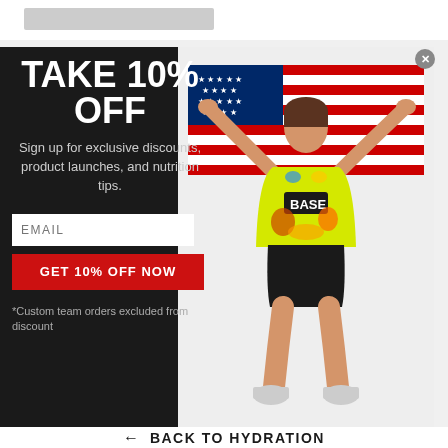[Figure (screenshot): Promotional popup modal on a sports nutrition website offering 10% off. Left dark panel with headline, subtext, email input, CTA button, and disclaimer. Right panel shows a young female athlete in a colorful cycling/triathlon kit holding an American flag above her head.]
TAKE 10% OFF
Sign up for exclusive discounts, product launches, and nutrition tips.
EMAIL
GET 10% OFF NOW
*Custom team orders excluded from discount
← BACK TO HYDRATION